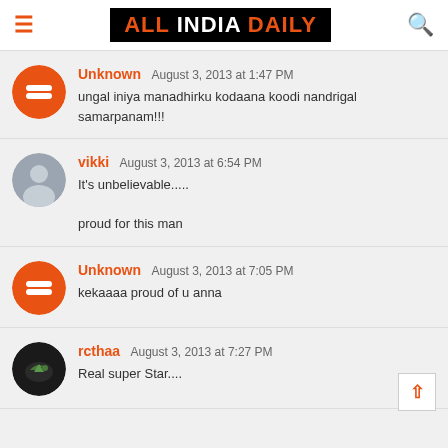ALL INDIA DAILY
Unknown  August 3, 2013 at 1:47 PM
ungal iniya manadhirku kodaana koodi nandrigal samarpanam!!!
vikki  August 3, 2013 at 6:54 PM
It's unbelievable.....

proud for this man
Unknown  August 3, 2013 at 7:05 PM
kekaaaa proud of u anna
rcthaa  August 3, 2013 at 7:27 PM
Real super Star....